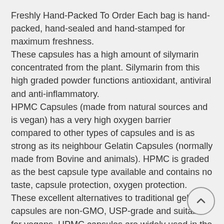Freshly Hand-Packed To Order Each bag is hand-packed, hand-sealed and hand-stamped for maximum freshness. These capsules has a high amount of silymarin concentrated from the plant. Silymarin from this high graded powder functions antioxidant, antiviral and anti-inflammatory. HPMC Capsules (made from natural sources and is vegan) has a very high oxygen barrier compared to other types of capsules and is as strong as its neighbour Gelatin Capsules (normally made from Bovine and animals). HPMC is graded as the best capsule type available and contains no taste, capsule protection, oxygen protection. These excellent alternatives to traditional gelatin capsules are non-GMO, USP-grade and suitable for vegans. HPMC capsules are widely used in the food and drink industry as they provide an excellent oxygen barrier and offer the same level of resiliency and flexibility. Main benefits of our HPMC capsules: Made from natural wood pulp and free from animal products Strictly non-toxic Suitable for Vegans, Kosher and Halal certified Essential for the